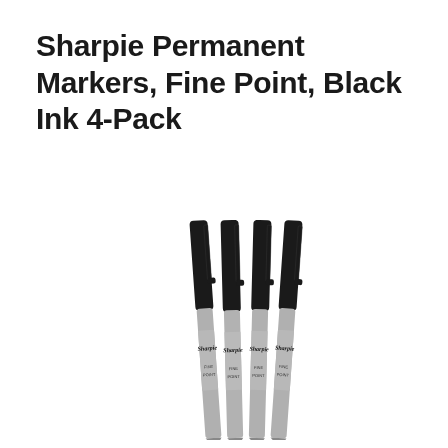Sharpie Permanent Markers, Fine Point, Black Ink 4-Pack
[Figure (photo): Four Sharpie Fine Point permanent markers with black caps and gray barrels arranged side by side, slightly fanned out, showing the Sharpie logo and 'FINE POINT' text on the barrels.]